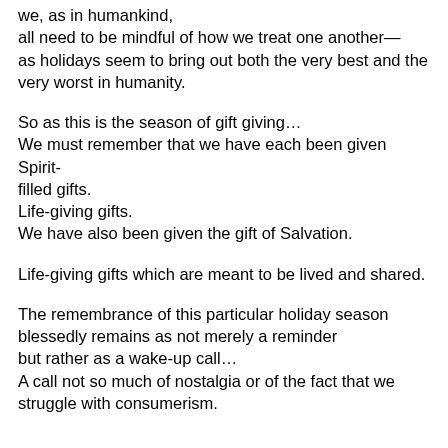we, as in humankind,
all need to be mindful of how we treat one another—
as holidays seem to bring out both the very best and the very worst in humanity.
So as this is the season of gift giving…
We must remember that we have each been given Spirit-filled gifts.
Life-giving gifts.
We have also been given the gift of Salvation.
Life-giving gifts which are meant to be lived and shared.
The remembrance of this particular holiday season blessedly remains as not merely a reminder but rather as a wake-up call…
A call not so much of nostalgia or of the fact that we struggle with consumerism.